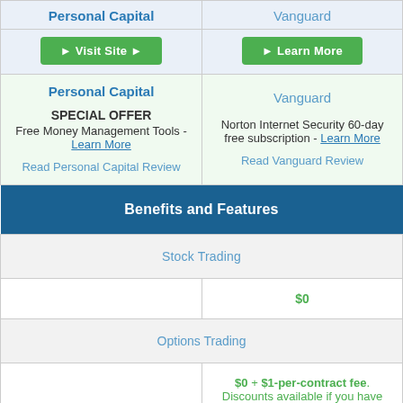| Personal Capital | Vanguard |
| --- | --- |
| Visit Site | Learn More |
| Personal Capital

SPECIAL OFFER
Free Money Management Tools - Learn More

Read Personal Capital Review | Vanguard

Norton Internet Security 60-day free subscription - Learn More

Read Vanguard Review |
| Benefits and Features | Benefits and Features |
| Stock Trading | Stock Trading |
|  | $0 |
| Options Trading | Options Trading |
|  | $0 + $1-per-contract fee. Discounts available if you have more than $1 |